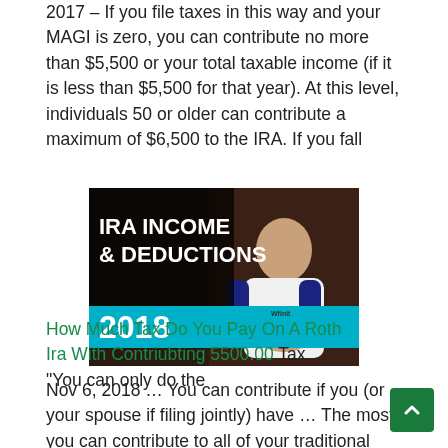2017 – If you file taxes in this way and your MAGI is zero, you can contribute no more than $5,500 or your total taxable income (if it is less than $5,500 for that year). At this level, individuals 50 or older can contribute a maximum of $6,500 to the IRA. If you fall
[Figure (photo): Thumbnail image showing a man in a baseball jersey with text overlay reading 'IRA INCOME & DEDUCTIONS 2018' on a dark background with a teal/cyan stripe]
Nov 6, 2018 … You can contribute if you (or your spouse if filing jointly) have … The most you can contribute to all of your traditional and Roth IRAs is the …
How Much Tax Do You Pay On A Roth Ira With Contriubting 5500.00 Tax … "You can only do the